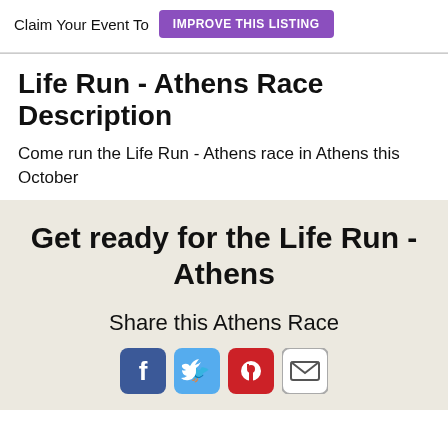Claim Your Event To IMPROVE THIS LISTING
Life Run - Athens Race Description
Come run the Life Run - Athens race in Athens this October
Get ready for the Life Run - Athens
Share this Athens Race
[Figure (illustration): Social sharing icons: Facebook, Twitter, Pinterest, Email]